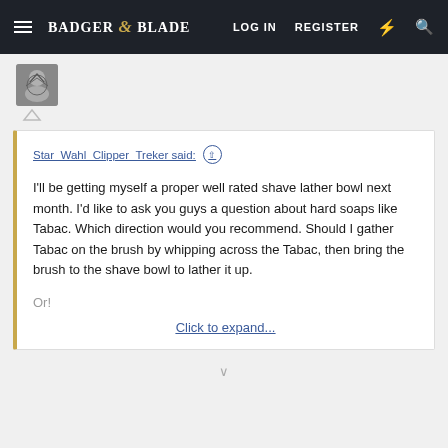Badger & Blade — LOG IN  REGISTER
[Figure (screenshot): User avatar thumbnail with heraldic/crest image]
Star_Wahl_Clipper_Treker said:
I'll be getting myself a proper well rated shave lather bowl next month. I'd like to ask you guys a question about hard soaps like Tabac. Which direction would you recommend. Should I gather Tabac on the brush by whipping across the Tabac, then bring the brush to the shave bowl to lather it up.
Or!
Click to expand...